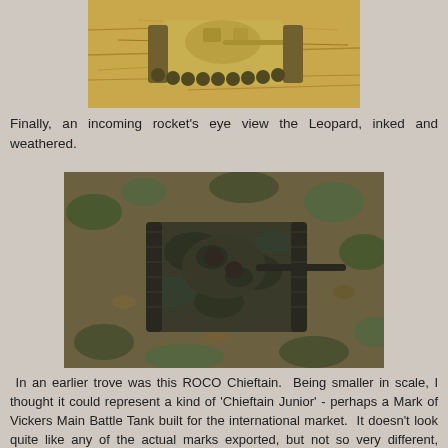[Figure (photo): Top-down or angled view of a tan/desert colored Leopard tank model on straw/hay ground]
Finally, an incoming rocket's eye view the Leopard, inked and weathered.
[Figure (photo): Bird's eye view of a dark camouflaged Leopard tank model (inked and weathered) on natural ground with grass and leaves]
In an earlier trove was this ROCO Chieftain. Being smaller in scale, I thought it could represent a kind of 'Chieftain Junior' - perhaps a Mark of Vickers Main Battle Tank built for the international market. It doesn't look quite like any of the actual marks exported, but not so very different, neither. I thought of calling it a Vickers MBT Mk 5. (A.k.a. Susan. Nah, I'm kidding).